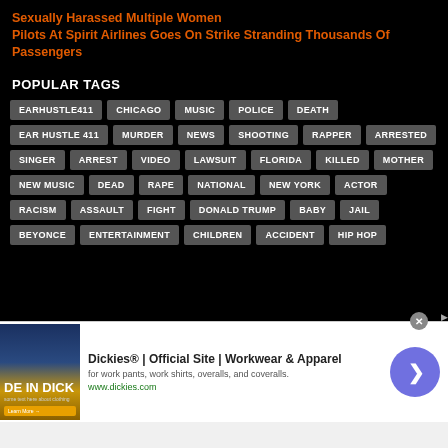Sexually Harassed Multiple Women Pilots At Spirit Airlines Goes On Strike Stranding Thousands Of Passengers
POPULAR TAGS
EARHUSTLE411
CHICAGO
MUSIC
POLICE
DEATH
EAR HUSTLE 411
MURDER
NEWS
SHOOTING
RAPPER
ARRESTED
SINGER
ARREST
VIDEO
LAWSUIT
FLORIDA
KILLED
MOTHER
NEW MUSIC
DEAD
RAPE
NATIONAL
NEW YORK
ACTOR
RACISM
ASSAULT
FIGHT
DONALD TRUMP
BABY
JAIL
BEYONCE
ENTERTAINMENT
CHILDREN
ACCIDENT
HIP HOP
[Figure (screenshot): Advertisement for Dickies workwear showing official site link]